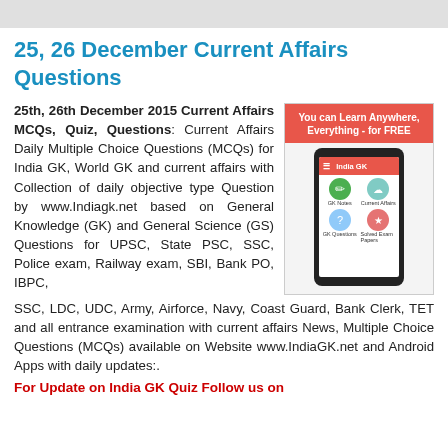25, 26 December Current Affairs Questions
25th, 26th December 2015 Current Affairs MCQs, Quiz, Questions: Current Affairs Daily Multiple Choice Questions (MCQs) for India GK, World GK and current affairs with Collection of daily objective type Question by www.Indiagk.net based on General Knowledge (GK) and General Science (GS) Questions for UPSC, State PSC, SSC, Police exam, Railway exam, SBI, Bank PO, IBPC, SSC, LDC, UDC, Army, Airforce, Navy, Coast Guard, Bank Clerk, TET and all entrance examination with current affairs News, Multiple Choice Questions (MCQs) available on Website www.IndiaGK.net and Android Apps with daily updates:.
[Figure (screenshot): India GK mobile app screenshot showing app interface with GK Notes, Current Affairs, GK Questions, and Solved Exam Papers, with header text 'You can Learn Anywhere, Everything - for FREE']
For Update on India GK Quiz Follow us on